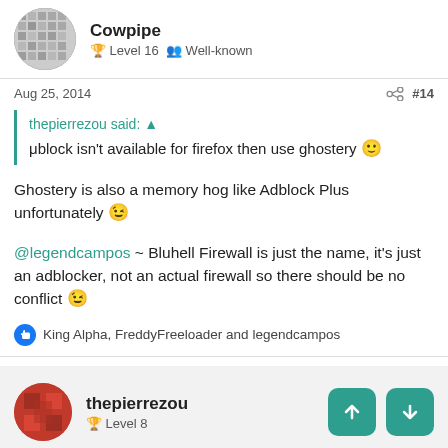Cowpipe — Level 16 Well-known
Aug 25, 2014  #14
thepierrezou said: μblock isn't available for firefox then use ghostery
Ghostery is also a memory hog like Adblock Plus unfortunately
@legendcampos ~ Bluhell Firewall is just the name, it's just an adblocker, not an actual firewall so there should be no conflict
King Alpha, FreddyFreeloader and legendcampos
thepierrezou — Level 8